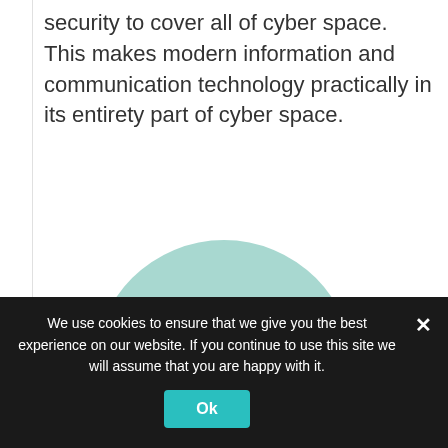security to cover all of cyber space. This makes modern information and communication technology practically in its entirety part of cyber space.
[Figure (illustration): A large light teal/mint circular badge with dark teal bold text reading 'Networks of the Future' (partially visible, cropped at bottom)]
We use cookies to ensure that we give you the best experience on our website. If you continue to use this site we will assume that you are happy with it.